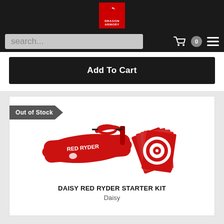Dragon Armory logo
search...
Add To Cart
[Figure (photo): Red Ryder starter kit product photo showing red bag with Red Ryder logo, targets, and accessories]
Out of Stock
DAISY RED RYDER STARTER KIT
Daisy